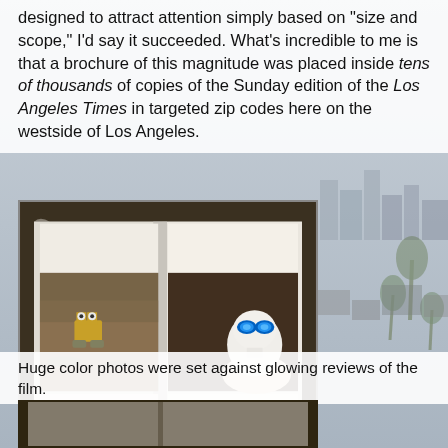designed to attract attention simply based on "size and scope," I'd say it succeeded. What's incredible to me is that a brochure of this magnitude was placed inside tens of thousands of copies of the Sunday edition of the Los Angeles Times in targeted zip codes here on the westside of Los Angeles.
[Figure (photo): Open brochure/book showing WALL-E film imagery: left page shows WALL-E robot in desert landscape, right page shows EVE robot with glowing blue eyes, on a dark surface]
Huge color photos were set against glowing reviews of the film.
[Figure (photo): Bottom portion of another brochure or book page, partially visible]